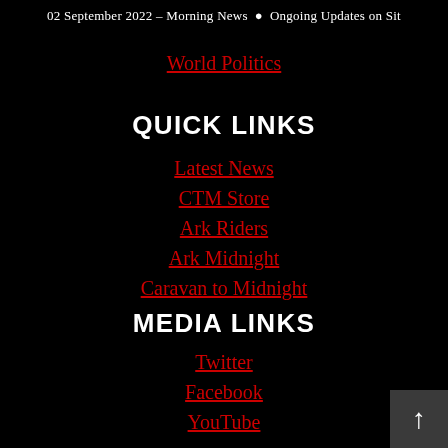02 September 2022 – Morning News  •  Ongoing Updates on Sit
World Politics
QUICK LINKS
Latest News
CTM Store
Ark Riders
Ark Midnight
Caravan to Midnight
MEDIA LINKS
Twitter
Facebook
YouTube